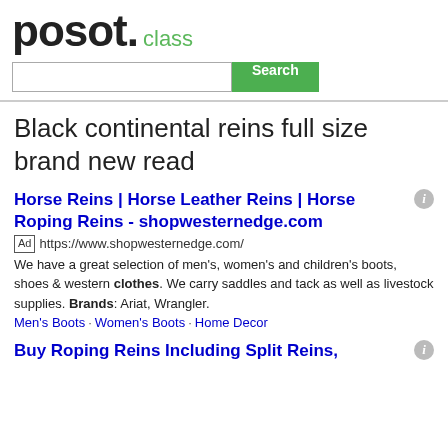posot.class
Black continental reins full size brand new read
Horse Reins | Horse Leather Reins | Horse Roping Reins - shopwesternedge.com
Ad https://www.shopwesternedge.com/
We have a great selection of men's, women's and children's boots, shoes & western clothes. We carry saddles and tack as well as livestock supplies. Brands: Ariat, Wrangler.
Men's Boots · Women's Boots · Home Decor
Buy Roping Reins Including Split Reins,